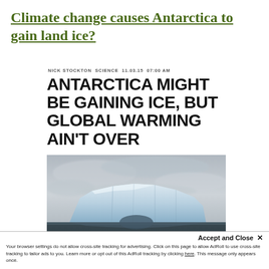Climate change causes Antarctica to gain land ice?
NICK STOCKTON SCIENCE 11.03.15 07:00 AM
ANTARCTICA MIGHT BE GAINING ICE, BUT GLOBAL WARMING AIN'T OVER
[Figure (photo): Large iceberg floating in dark ocean water under a dramatic grey cloudy sky]
Climate change makes the eart
Accept and Close ✕
Your browser settings do not allow cross-site tracking for advertising. Click on this page to allow AdRoll to use cross-site tracking to tailor ads to you. Learn more or opt out of this AdRoll tracking by clicking here. This message only appears once.